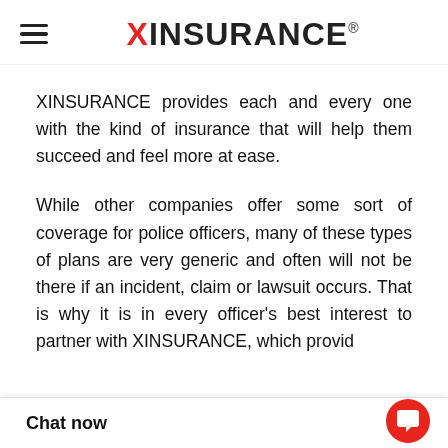XINSURANCE®
XINSURANCE provides each and every one with the kind of insurance that will help them succeed and feel more at ease.
While other companies offer some sort of coverage for police officers, many of these types of plans are very generic and often will not be there if an incident, claim or lawsuit occurs. That is why it is in every officer's best interest to partner with XINSURANCE, which provid[es the right kind of] officer person[al insurance]...
Chat now